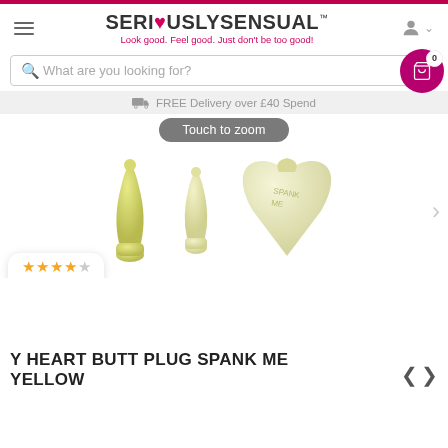SERIOUSLYSENSUAL™ — Look good. Feel good. Just don't be too good!
What are you looking for?
FREE Delivery over £40 Spend
Touch to zoom
[Figure (photo): Three yellow heart butt plug products shown side by side against white background]
4.17
Y HEART BUTT PLUG SPANK ME YELLOW